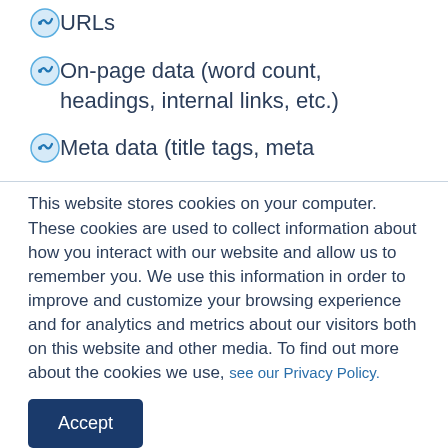URLs
On-page data (word count, headings, internal links, etc.)
Meta data (title tags, meta
This website stores cookies on your computer. These cookies are used to collect information about how you interact with our website and allow us to remember you. We use this information in order to improve and customize your browsing experience and for analytics and metrics about our visitors both on this website and other media. To find out more about the cookies we use, see our Privacy Policy.
Accept